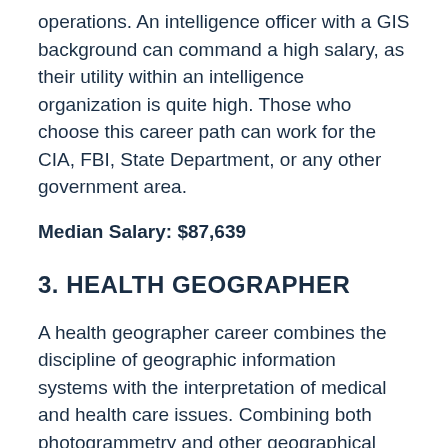operations. An intelligence officer with a GIS background can command a high salary, as their utility within an intelligence organization is quite high. Those who choose this career path can work for the CIA, FBI, State Department, or any other government area.
Median Salary: $87,639
3. HEALTH GEOGRAPHER
A health geographer career combines the discipline of geographic information systems with the interpretation of medical and health care issues. Combining both photogrammetry and other geographical information to assist in the understanding of health and disease, health geographers get a better understanding of how geography can affect the movement of different